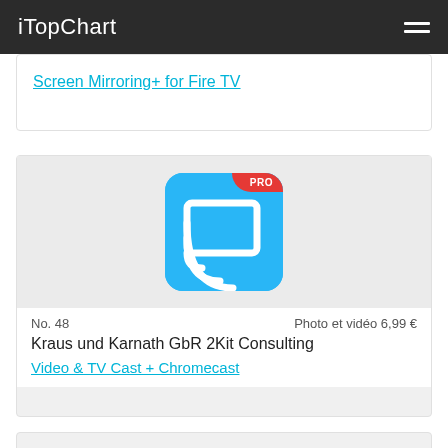iTopChart
Screen Mirroring+ for Fire TV
[Figure (illustration): App icon for Video & TV Cast + Chromecast: blue square icon with white cast/screen mirroring symbol and a red PRO badge in the upper right corner]
No. 48 | Photo et vidéo 6,99 €
Kraus und Karnath GbR 2Kit Consulting
Video & TV Cast + Chromecast